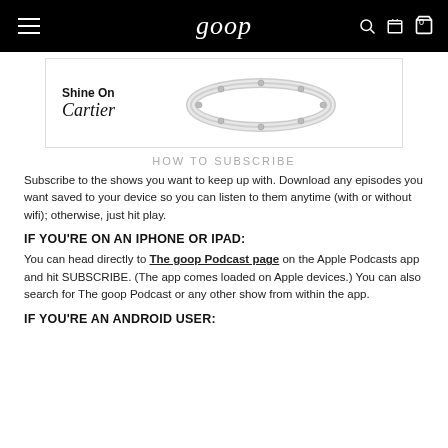goop
[Figure (illustration): Advertisement banner for Cartier showing 'Shine On' text alongside a Cartier Love bracelet in white gold with diamonds]
HOW TO SUBSCRIBE
Subscribe to the shows you want to keep up with. Download any episodes you want saved to your device so you can listen to them anytime (with or without wifi); otherwise, just hit play.
IF YOU'RE ON AN IPHONE OR IPAD:
You can head directly to The goop Podcast page on the Apple Podcasts app and hit SUBSCRIBE. (The app comes loaded on Apple devices.) You can also search for The goop Podcast or any other show from within the app.
IF YOU'RE AN ANDROID USER: